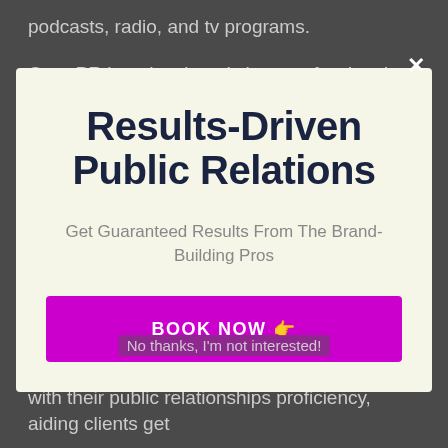podcasts, radio, and tv programs.
Otter PR has developed close professional
Results-Driven Public Relations
Get Guaranteed Results From The Brand-Building Pros
BOOK NOW 👉
No thanks, I'm not interested!
from local business start-up endeavors to some of the globe's leading Fortune 500 firms with their public relationships proficiency, aiding clients get